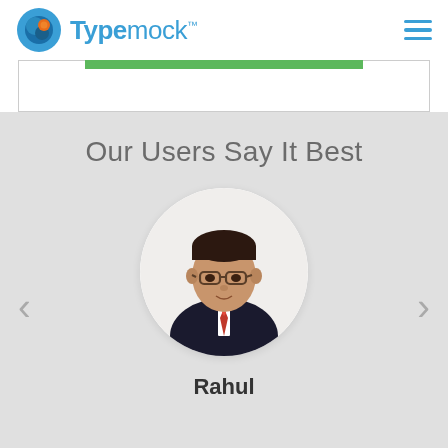[Figure (logo): Typemock logo: blue circle icon with orange accent and blue text 'Typemock' with TM mark]
[Figure (screenshot): Green progress/download bar inside a bordered white rectangle]
Our Users Say It Best
[Figure (photo): Circular cropped headshot photo of a man named Rahul wearing glasses, a dark suit, and a red tie]
Rahul